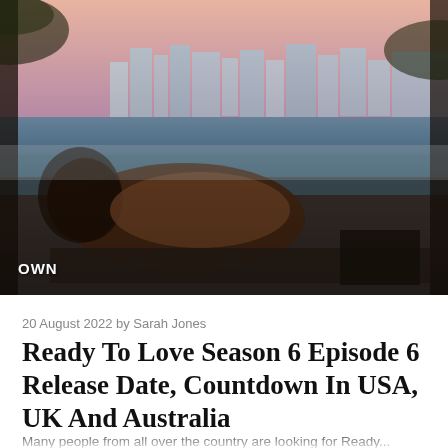[Figure (photo): Hero image showing a woman with curly hair and sunglasses lounging poolside with a city skyline and palm trees in the background at sunset. OWN network logo in bottom left corner.]
20 August 2022 by Sarah Jones
Ready To Love Season 6 Episode 6 Release Date, Countdown In USA, UK And Australia
Many people from all over the country are looking for Ready...